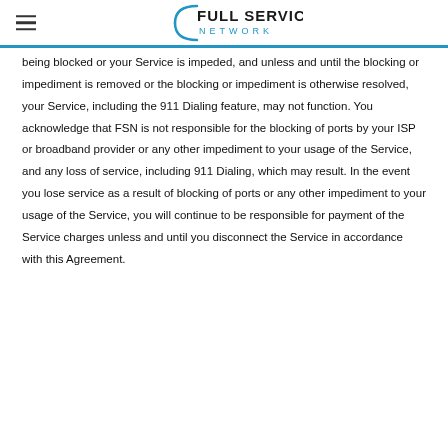Full Service Network
being blocked or your Service is impeded, and unless and until the blocking or impediment is removed or the blocking or impediment is otherwise resolved, your Service, including the 911 Dialing feature, may not function. You acknowledge that FSN is not responsible for the blocking of ports by your ISP or broadband provider or any other impediment to your usage of the Service, and any loss of service, including 911 Dialing, which may result. In the event you lose service as a result of blocking of ports or any other impediment to your usage of the Service, you will continue to be responsible for payment of the Service charges unless and until you disconnect the Service in accordance with this Agreement.